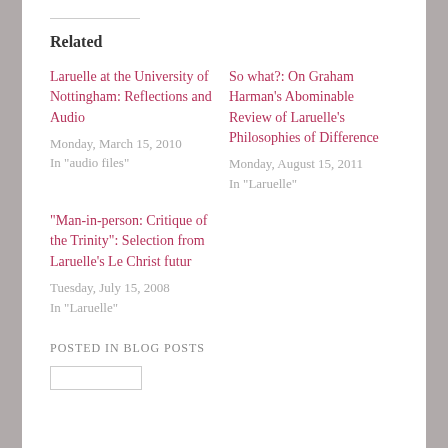Related
Laruelle at the University of Nottingham: Reflections and Audio
Monday, March 15, 2010
In "audio files"
So what?: On Graham Harman's Abominable Review of Laruelle's Philosophies of Difference
Monday, August 15, 2011
In "Laruelle"
"Man-in-person: Critique of the Trinity": Selection from Laruelle's Le Christ futur
Tuesday, July 15, 2008
In "Laruelle"
POSTED IN BLOG POSTS